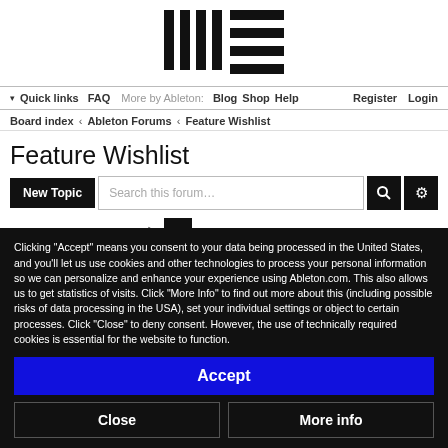[Figure (logo): Ableton logo — vertical bars with horizontal lines (stylized menu icon)]
▾ Quick links   FAQ   More by Ableton:   Blog   Shop   Help   Register   Login
Board index ‹ Ableton Forums ‹ Feature Wishlist
Feature Wishlist
New Topic  [Search this forum…] [search icon] [settings icon]
15313 topics  ➤  1  2  3  4  5  ...  307  ›
Clicking "Accept" means you consent to your data being processed in the United States, and you'll let us use cookies and other technologies to process your personal information so we can personalize and enhance your experience using Ableton.com. This also allows us to get statistics of visits. Click "More Info" to find out more about this (including possible risks of data processing in the USA), set your individual settings or object to certain processes. Click "Close" to deny consent. However, the use of technically required cookies is essential for the website to function.
Accept
Close
More info